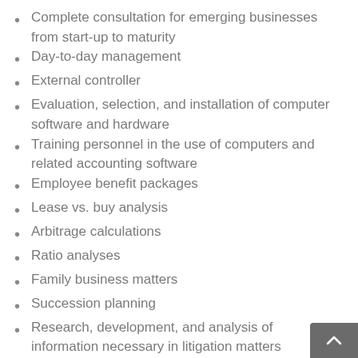Complete consultation for emerging businesses from start-up to maturity
Day-to-day management
External controller
Evaluation, selection, and installation of computer software and hardware
Training personnel in the use of computers and related accounting software
Employee benefit packages
Lease vs. buy analysis
Arbitrage calculations
Ratio analyses
Family business matters
Succession planning
Research, development, and analysis of information necessary in litigation matters